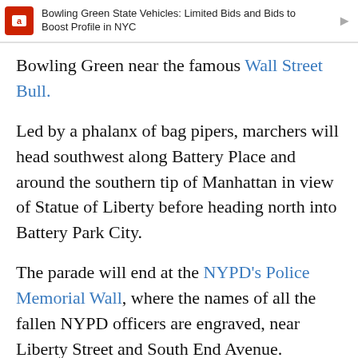Bowling Green State Vehicles: Limited Bids and Bids to Boost Profile in NYC
Bowling Green near the famous Wall Street Bull.
Led by a phalanx of bag pipers, marchers will head southwest along Battery Place and around the southern tip of Manhattan in view of Statue of Liberty before heading north into Battery Park City.
The parade will end at the NYPD's Police Memorial Wall, where the names of all the fallen NYPD officers are engraved, near Liberty Street and South End Avenue.
There, marchers and family and friends of the 23 NYPD officers who lost their lives on Sept 11, and the 99 officers who have succumbed to 9/11 health-related illnesses since then, will hold a memorial service honoring their sacrifice with a host of government officials, dignitaries and police